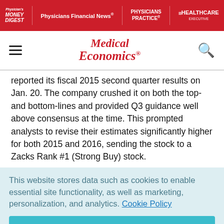Physician's Money Digest | Physicians Financial News | Physicians Practice | Healthcare Executive
Medical Economics
reported its fiscal 2015 second quarter results on Jan. 20. The company crushed it on both the top- and bottom-lines and provided Q3 guidance well above consensus at the time. This prompted analysts to revise their estimates significantly higher for both 2015 and 2016, sending the stock to a Zacks Rank #1 (Strong Buy) stock.
This website stores data such as cookies to enable essential site functionality, as well as marketing, personalization, and analytics. Cookie Policy
Accept
Deny